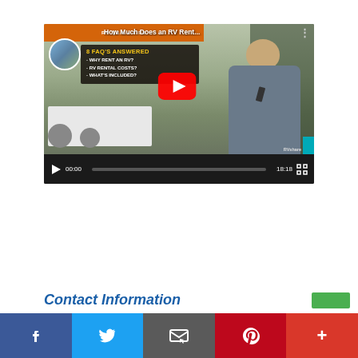[Figure (screenshot): YouTube video embed showing 'How Much Does an RV Rent...' with 8 FAQ's Answered overlay text listing Why Rent an RV, RV Rental Costs, What's Included. Video controls show 00:00 current time and 18:18 total duration.]
Contact Information